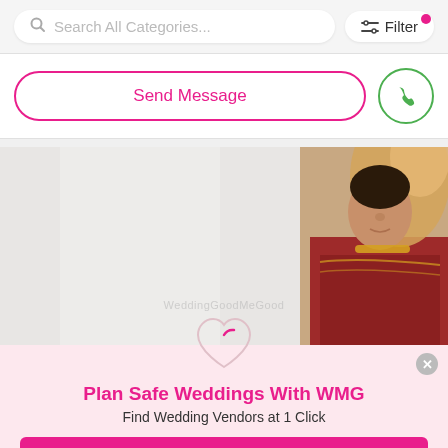[Figure (screenshot): Search bar with placeholder 'Search All Categories...' and a Filter button with pink notification dot]
[Figure (screenshot): Send Message button and phone call circle button]
[Figure (photo): Indian bride in red and gold bridal outfit seated on a swing, WeddingGoodMeGood watermark visible]
Plan Safe Weddings With WMG
Find Wedding Vendors at 1 Click
Download the WMG App